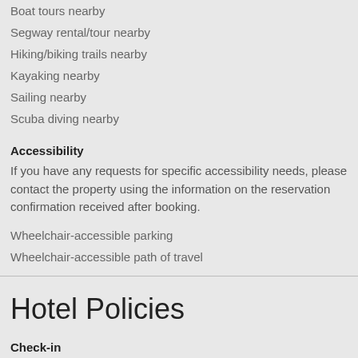Boat tours nearby
Segway rental/tour nearby
Hiking/biking trails nearby
Kayaking nearby
Sailing nearby
Scuba diving nearby
Accessibility
If you have any requests for specific accessibility needs, please contact the property using the information on the reservation confirmation received after booking.
Wheelchair-accessible parking
Wheelchair-accessible path of travel
Hotel Policies
Check-in